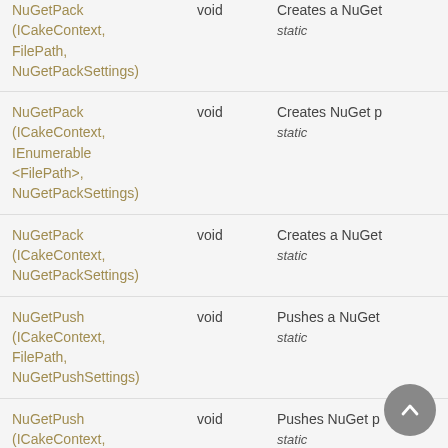| Name | Return | Description |
| --- | --- | --- |
| NuGetPack (ICakeContext, FilePath, NuGetPackSettings) | void | Creates a NuGet
static |
| NuGetPack (ICakeContext, IEnumerable <FilePath>, NuGetPackSettings) | void | Creates NuGet p
static |
| NuGetPack (ICakeContext, NuGetPackSettings) | void | Creates a NuGet
static |
| NuGetPush (ICakeContext, FilePath, NuGetPushSettings) | void | Pushes a NuGet
static |
| NuGetPush (ICakeContext, IEnumerable <FilePath>, | void | Pushes NuGet p
static |